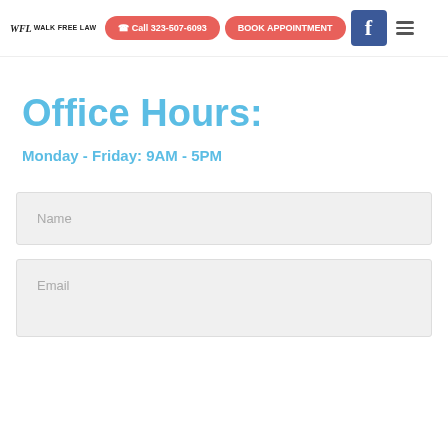WFL WALK FREE LAW | Call 323-507-6093 | BOOK APPOINTMENT
Office Hours:
Monday - Friday: 9AM - 5PM
Name
Email